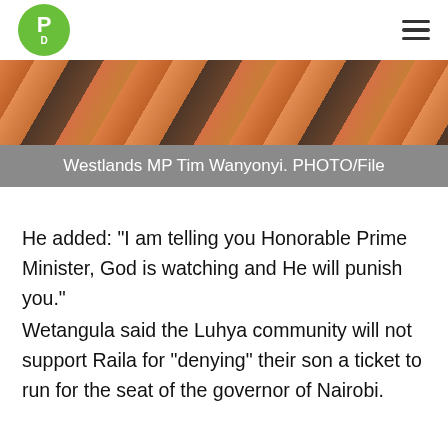PD logo and hamburger menu
[Figure (photo): Westlands MP Tim Wanyonyi, cropped photo showing person in orange/warm toned clothing]
Westlands MP Tim Wanyonyi. PHOTO/File
He added: "I am telling you Honorable Prime Minister, God is watching and He will punish you."
Wetangula said the Luhya community will not support Raila for "denying" their son a ticket to run for the seat of the governor of Nairobi.